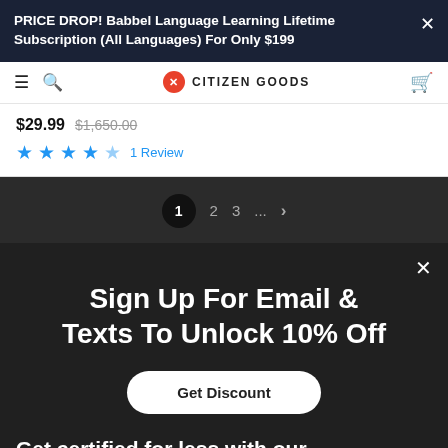PRICE DROP! Babbel Language Learning Lifetime Subscription (All Languages) For Only $199
[Figure (screenshot): Citizen Goods website navigation bar with hamburger menu, search icon, Citizen Goods logo, and cart icon]
$29.99  $1,650.00  ★★★★☆  1 Review
1  2  3  ...  ›
Sign Up For Email & Texts To Unlock 10% Off
Get Discount
Get certified for less with our online co...
Looking for technical IoT certifications? Our discounted online certification courses can get you certified for less than what you'd